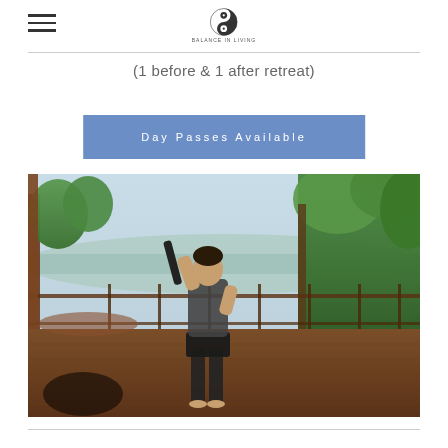Navigation header with hamburger menu and yin-yang logo
(1 before & 1 after retreat)
Day Passes Available
[Figure (photo): A person standing on a wooden deck/balcony holding what appears to be a yoga mat or similar equipment, looking out at a tropical landscape with green trees and water in the background.]